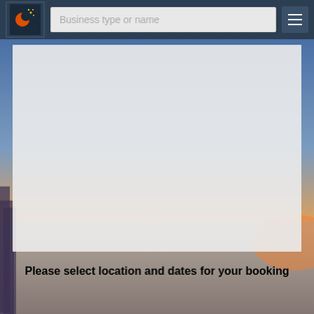[Figure (screenshot): App navigation bar with crescent moon logo, search input placeholder 'Business type or name', and hamburger menu button on dark blue background]
[Figure (photo): Background image of a cityscape/waterfront at sunset with warm orange/blue tones, partially obscured by a light gray overlay panel]
Please select location and dates for your booking